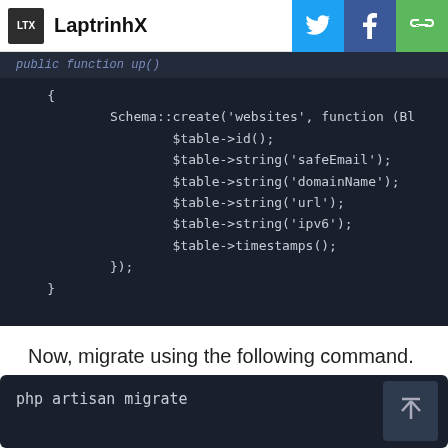LaptrinhX
[Figure (screenshot): Code block showing PHP Laravel migration schema with Schema::create('websites', function (Blueprint $table) containing $table->id(), $table->string('safeEmail'), $table->string('domainName'), $table->string('url'), $table->string('ipv6'), $table->timestamps(); then });]
Now, migrate using the following command.
[Figure (screenshot): Code block showing terminal command: php artisan migrate]